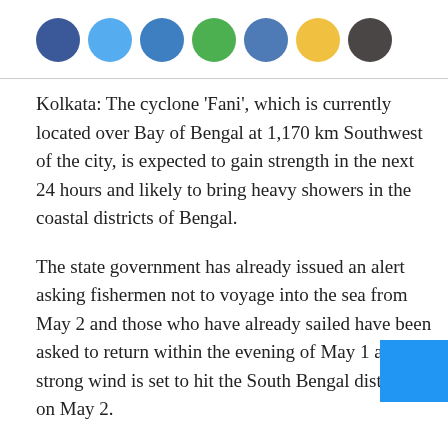[Figure (other): Row of seven social media sharing icon circles: dark blue (Facebook), light blue (Twitter), medium blue (Google+), green, blue, yellow, dark grey]
Kolkata: The cyclone 'Fani', which is currently located over Bay of Bengal at 1,170 km Southwest of the city, is expected to gain strength in the next 24 hours and likely to bring heavy showers in the coastal districts of Bengal.
The state government has already issued an alert asking fishermen not to voyage into the sea from May 2 and those who have already sailed have been asked to return within the evening of May 1 as a strong wind is set to hit the South Bengal districts on May 2.
The state government has also asked the East Midnapore district administration to take adequate preventive measures in this regard.
Senior administrative officials of the district issued instructions saying that a strong vigil will be conducted on